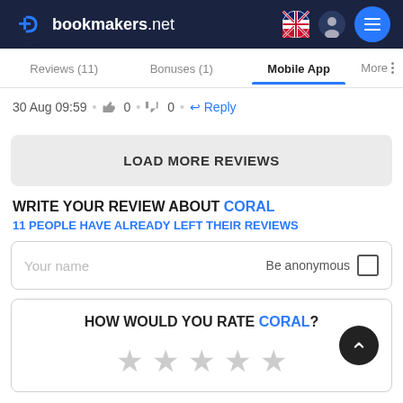bookmakers.net
Reviews (11)  Bonuses (1)  Mobile App  More
30 Aug 09:59 • 👍 0 • 👎 0 • Reply
LOAD MORE REVIEWS
WRITE YOUR REVIEW ABOUT CORAL
11 PEOPLE HAVE ALREADY LEFT THEIR REVIEWS
Your name  Be anonymous ☐
HOW WOULD YOU RATE CORAL? ★ ★ ★ ★ ★